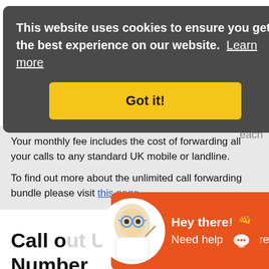This website uses cookies to ensure you get the best experience on our website. Learn more
Got it!
each
Your monthly fee includes the cost of forwarding all your calls to any standard UK mobile or landline.
To find out more about the unlimited call forwarding bundle please visit this page.
[Figure (illustration): Chat popup with cartoon mascot character (scientist with glasses) and text: Hey there! 👋 Need help? We are here to chat, with a close X button]
Call o... Number.
Call customers directly using your Numberpeople W... Ghost Phone Number.
VoIP calling is simple using our free app, and callers will see